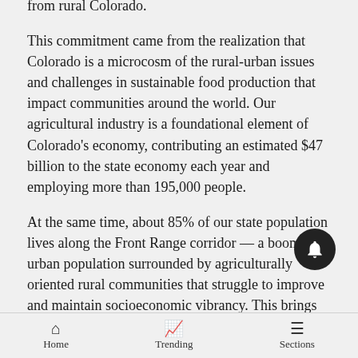from rural Colorado.
This commitment came from the realization that Colorado is a microcosm of the rural-urban issues and challenges in sustainable food production that impact communities around the world. Our agricultural industry is a foundational element of Colorado's economy, contributing an estimated $47 billion to the state economy each year and employing more than 195,000 people.
At the same time, about 85% of our state population lives along the Front Range corridor — a booming urban population surrounded by agriculturally oriented rural communities that struggle to improve and maintain socioeconomic vibrancy. This brings into stark relief all the issues related to urban
Home   Trending   Sections